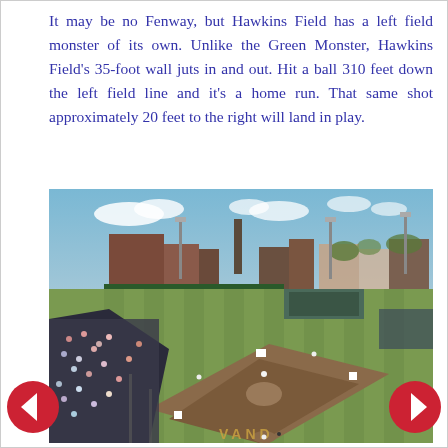It may be no Fenway, but Hawkins Field has a left field monster of its own. Unlike the Green Monster, Hawkins Field's 35-foot wall juts in and out. Hit a ball 310 feet down the left field line and it's a home run. That same shot approximately 20 feet to the right will land in play.
[Figure (photo): Aerial view of Hawkins Field baseball stadium showing the diamond, green field with stripe mowing pattern, outfield wall, stadium seating, and surrounding brick buildings. 'VANDERBILT' or similar text visible on the outfield grass.]